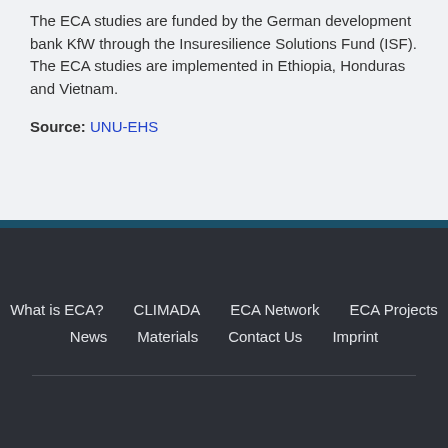The ECA studies are funded by the German development bank KfW through the Insuresilience Solutions Fund (ISF). The ECA studies are implemented in Ethiopia, Honduras and Vietnam.
Source: UNU-EHS
What is ECA?  CLIMADA  ECA Network  ECA Projects  News  Materials  Contact Us  Imprint